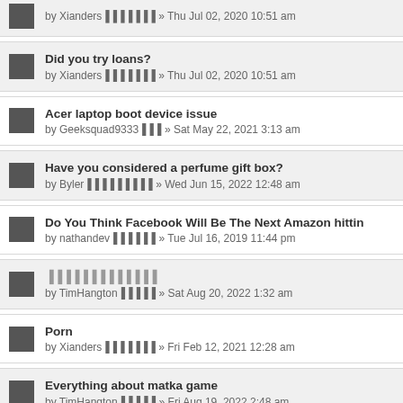by Xianders▐▐▐▐▐▐▐ » Thu Jul 02, 2020 10:51 am (partial)
Did you try loans?
by Xianders▐▐▐▐▐▐▐ » Thu Jul 02, 2020 10:51 am
Acer laptop boot device issue
by Geeksquad9333▐▐▐ » Sat May 22, 2021 3:13 am
Have you considered a perfume gift box?
by Byler▐▐▐▐▐▐▐▐▐ » Wed Jun 15, 2022 12:48 am
Do You Think Facebook Will Be The Next Amazon hittin
by nathandev▐▐▐▐▐▐ » Tue Jul 16, 2019 11:44 pm
▐▐▐▐▐▐▐▐▐▐▐▐▐
by TimHangton▐▐▐▐▐ » Sat Aug 20, 2022 1:32 am
Porn
by Xianders▐▐▐▐▐▐▐ » Fri Feb 12, 2021 12:28 am
Everything about matka game
by TimHangton▐▐▐▐▐ » Fri Aug 19, 2022 2:48 am
Where To Find Cheap Furniture Online?
by TimHangton▐▐▐▐▐ » Sun Jul 25, 2021 5:40 am